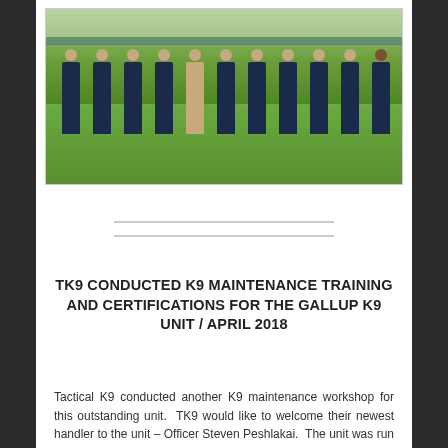[Figure (photo): Group photo of approximately 11 law enforcement officers in dark navy uniforms standing on a green grass field, with trees and a fence visible in the background. One officer in the center is wearing tan/khaki clothing.]
TK9 CONDUCTED K9 MAINTENANCE TRAINING AND CERTIFICATIONS FOR THE GALLUP K9 UNIT / APRIL 2018
Tactical K9 conducted another K9 maintenance workshop for this outstanding unit.  TK9 would like to welcome their newest handler to the unit – Officer Steven Peshlakai.  The unit was run thru all training